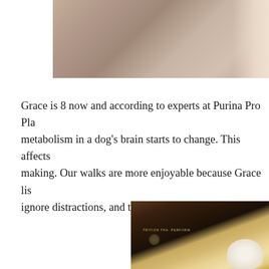[Figure (photo): Photo of a dog resting on a tan/beige soft blanket or couch, partially cropped at the top of the page]
Grace is 8 now and according to experts at Purina Pro Pla metabolism in a dog's brain starts to change. This affects making. Our walks are more enjoyable because Grace lis ignore distractions, and to keep at my pace.
[Figure (photo): Photo of a dark Purina Pro Plan dog food bag with a white dog visible on the packaging, placed on a wooden surface]